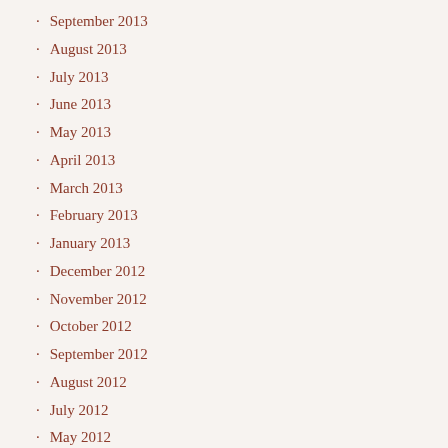September 2013
August 2013
July 2013
June 2013
May 2013
April 2013
March 2013
February 2013
January 2013
December 2012
November 2012
October 2012
September 2012
August 2012
July 2012
May 2012
April 2012
March 2012